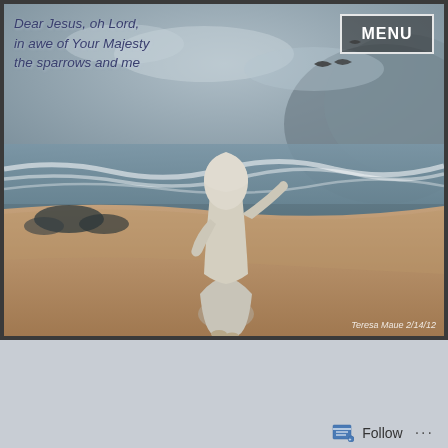[Figure (illustration): A painting of a robed figure (Jesus) walking along a beach shoreline, with birds in the sky and waves crashing. The scene is rendered in muted blues, greys, and sandy browns. Text overlaid reads: 'Dear Jesus, oh Lord, in awe of Your Majesty the sparrows and me'. A MENU button appears in the top right. A watermark reads 'Teresa Maue 2/14/12'.]
Dear Jesus, oh Lord, in awe of Your Majesty the sparrows and me
MENU
Teresa Maue 2/14/12
D... (partial large letters visible at page bottom)
Follow ···